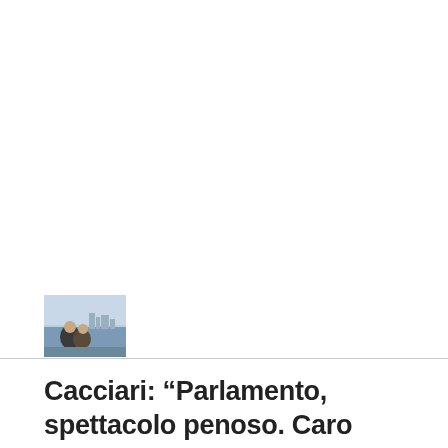[Figure (photo): Small circular/rounded thumbnail image showing two people sitting together outdoors near water with a city skyline in background]
Cacciari: “Parlamento, spettacolo penoso. Caro Letta, il campo largo è